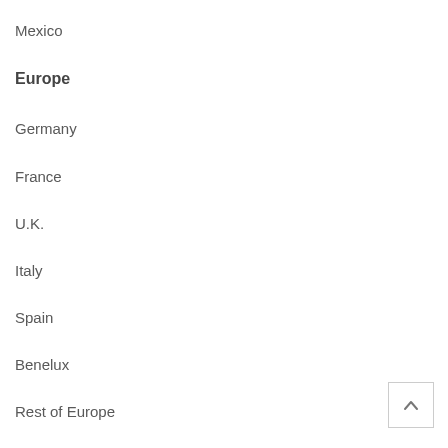Mexico
Europe
Germany
France
U.K.
Italy
Spain
Benelux
Rest of Europe
Asia Pacific